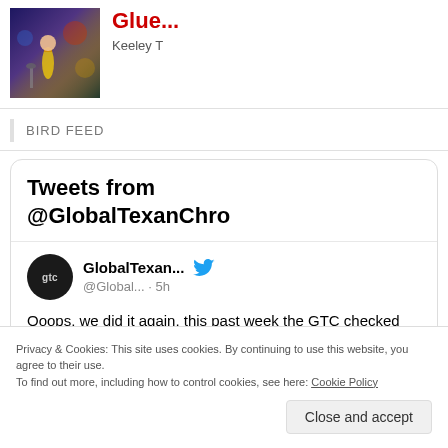[Figure (photo): Concert photo showing performers on stage with colorful lighting, purple/blue tones with a guitarist visible]
Glue...
Keeley T
BIRD FEED
[Figure (screenshot): Twitter/X widget showing 'Tweets from @GlobalTexanChro' with a tweet from GlobalTexan... @Global... 5h reading 'Ooops, we did it again, this past week the GTC checked out sights/sounds from']
Privacy & Cookies: This site uses cookies. By continuing to use this website, you agree to their use. To find out more, including how to control cookies, see here: Cookie Policy